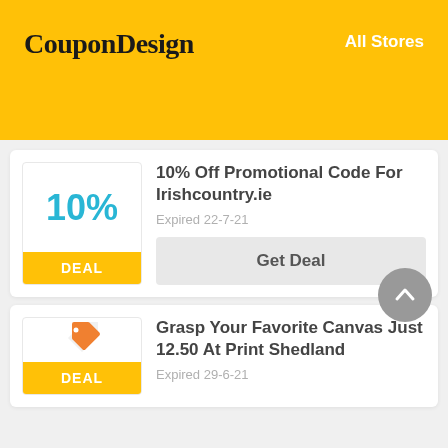CouponDesign   All Stores
10% Off Promotional Code For Irishcountry.ie
Expired 22-7-21
Get Deal
Grasp Your Favorite Canvas Just 12.50 At Print Shedland
Expired 29-6-21